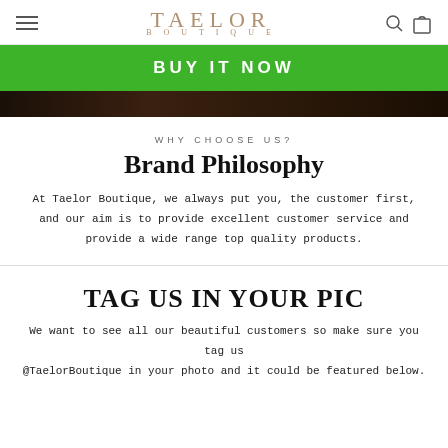TAELOR BOUTIQUE
BUY IT NOW
[Figure (photo): Dark photo strip showing people, partial view]
WHY CHOOSE US?
Brand Philosophy
At Taelor Boutique, we always put you, the customer first, and our aim is to provide excellent customer service and provide a wide range top quality products.
TAG US IN YOUR PIC
We want to see all our beautiful customers so make sure you tag us @TaelorBoutique in your photo and it could be featured below.